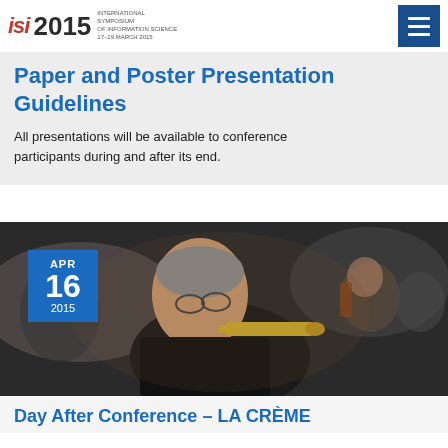ISI 2015 — International Symposium of Information Science
Paper and Poster Presentation Guidelines
All presentations will be available to conference participants during and after its end.
[Figure (photo): Orchestra musicians playing instruments including a trumpeter in the foreground and string players in the background, with a date badge showing APR 16 2015 in the upper left.]
Day After Conference – LA CRÈME